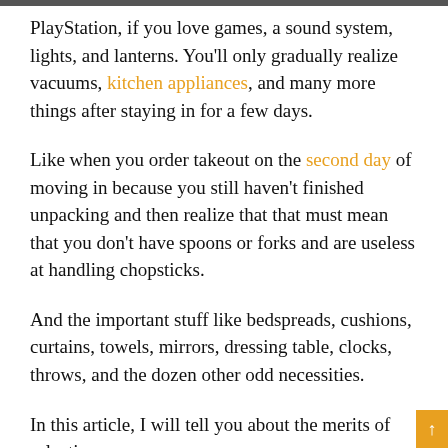All the technical stuff you need, a desk, a bed, PlayStation, if you love games, a sound system, lights, and lanterns. You'll only gradually realize vacuums, kitchen appliances, and many more things after staying in for a few days.
Like when you order takeout on the second day of moving in because you still haven't finished unpacking and then realize that that must mean that you don't have spoons or forks and are useless at handling chopsticks.
And the important stuff like bedspreads, cushions, curtains, towels, mirrors, dressing table, clocks, throws, and the dozen other odd necessities.
In this article, I will tell you about the merits of selecting...